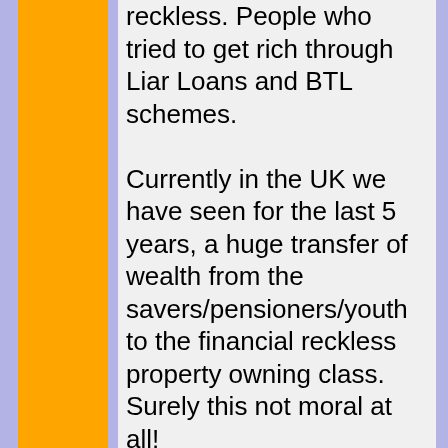reckless. People who tried to get rich through Liar Loans and BTL schemes.

Currently in the UK we have seen for the last 5 years, a huge transfer of wealth from the savers/pensioners/youth to the financial reckless property owning class.
Surely this not moral at all!